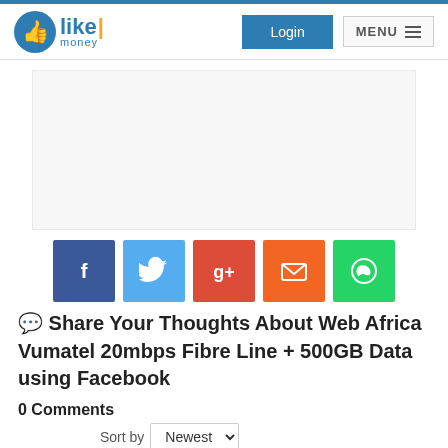likemoney — Login | MENU
[Figure (other): Advertisement / blank ad placeholder area]
[Figure (infographic): Social share buttons: Facebook (blue), Twitter (light blue), Google+ (red), Email (orange), WhatsApp (green)]
💬 Share Your Thoughts About Web Africa Vumatel 20mbps Fibre Line + 500GB Data using Facebook
0 Comments
Sort by Newest